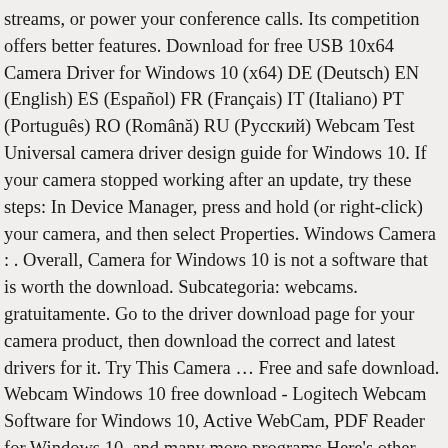streams, or power your conference calls. Its competition offers better features. Download for free USB 10x64 Camera Driver for Windows 10 (x64) DE (Deutsch) EN (English) ES (Español) FR (Français) IT (Italiano) PT (Português) RO (Română) RU (Русский) Webcam Test Universal camera driver design guide for Windows 10. If your camera stopped working after an update, try these steps: In Device Manager, press and hold (or right-click) your camera, and then select Properties. Windows Camera : . Overall, Camera for Windows 10 is not a software that is worth the download. Subcategoria: webcams. gratuitamente. Go to the driver download page for your camera product, then download the correct and latest drivers for it. Try This Camera … Free and safe download. Webcam Windows 10 free download - Logitech Webcam Software for Windows 10, Active WebCam, PDF Reader for Windows 10, and many more programs Here's other similar drivers that are different versions or releases for different operating systems: Found a bad link? Released. Silicon Motion. TECHSPOT : Tech